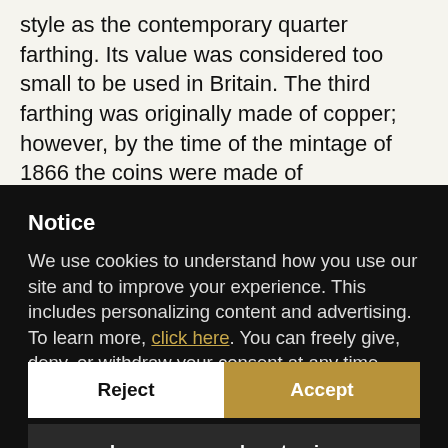style as the contemporary quarter farthing. Its value was considered too small to be used in Britain. The third farthing was originally made of copper; however, by the time of the mintage of 1866 the coins were made of
Notice
We use cookies to understand how you use our site and to improve your experience. This includes personalizing content and advertising. To learn more, click here. You can freely give, deny, or withdraw your consent at any time.